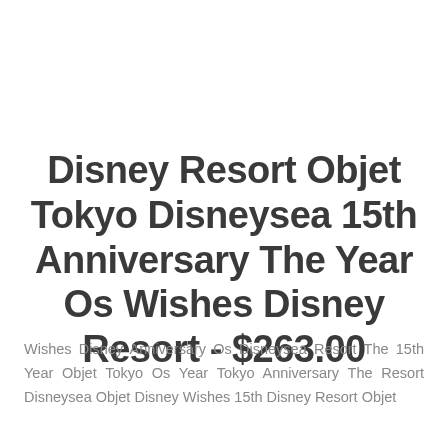Disney Resort Objet Tokyo Disneysea 15th Anniversary The Year Os Wishes Disney Resort - $263.00
Wishes Disney Anniversary Os Disneysea Resort The 15th Year Objet Tokyo Os Year Tokyo Anniversary The Resort Disneysea Objet Disney Wishes 15th Disney Resort Objet